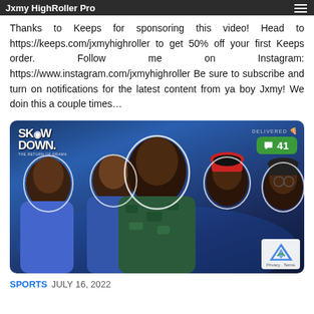Jxmy HighRoller Pro
Thanks to Keeps for sponsoring this video! Head to https://keeps.com/jxmyhighroller to get 50% off your first Keeps order. Follow me on Instagram: https://www.instagram.com/jxmyhighroller Be sure to subscribe and turn on notifications for the latest content from ya boy Jxmy! We doin this a couple times…
[Figure (photo): Promotional image for 'SHOWDOWN' featuring five men posed together against a blue basketball-themed background. A green comment bubble shows '41' in the top right. A delivered badge and pizza icon also appear.]
SPORTS JULY 16, 2022